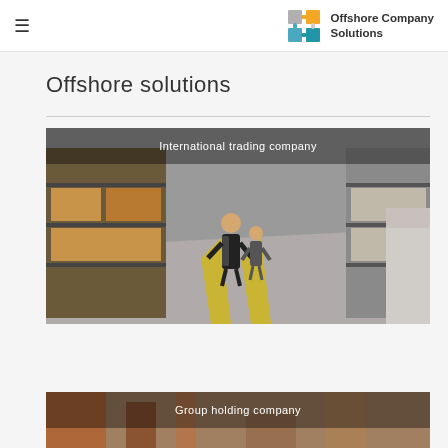≡  Offshore Company Solutions
Offshore solutions
[Figure (photo): Warehouse interior with two people walking down an aisle between tall shelving units. Text overlay reads 'International trading company'.]
[Figure (photo): Partial view of another image with text overlay reading 'Group holding company'.]